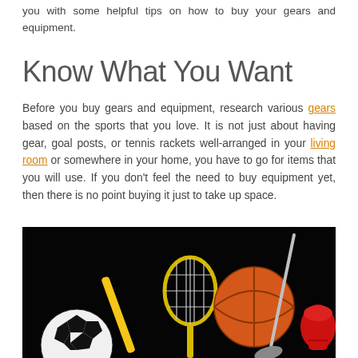you with some helpful tips on how to buy your gears and equipment.
Know What You Want
Before you buy gears and equipment, research various gears based on the sports that you love. It is not just about having gear, goal posts, or tennis rackets well-arranged in your living room or somewhere in your home, you have to go for items that you will use. If you don't feel the need to buy equipment yet, then there is no point buying it just to take up space.
[Figure (photo): Sports equipment on a black background including a basketball, tennis racket, soccer ball, golf club, and boxing glove]